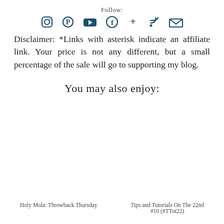Follow:
[Figure (illustration): Social media icons row: Instagram, Pinterest, YouTube, Facebook, Google+, RSS, Email — dark teal color]
Disclaimer: *Links with asterisk indicate an affiliate link. Your price is not any different, but a small percentage of the sale will go to supporting my blog.
You may also enjoy:
Holy Mola: Throwback Thursday     Tips and Tutorials On The 22nd #10 (#TTot22)